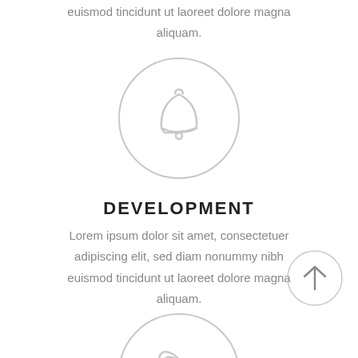euismod tincidunt ut laoreet dolore magna aliquam.
[Figure (illustration): Bell icon inside a light gray circle]
DEVELOPMENT
Lorem ipsum dolor sit amet, consectetuer adipiscing elit, sed diam nonummy nibh euismod tincidunt ut laoreet dolore magna aliquam.
[Figure (illustration): Up arrow icon inside a light gray circle]
[Figure (illustration): Rocket icon inside a light gray circle (partially visible at bottom)]